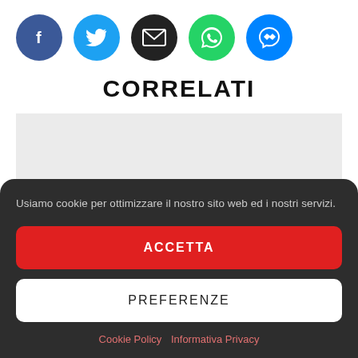[Figure (illustration): Row of five social media sharing buttons as colored circles: Facebook (dark blue), Twitter (light blue), Email (black), WhatsApp (green), Messenger (blue)]
CORRELATI
[Figure (other): Gray placeholder box for related content]
Usiamo cookie per ottimizzare il nostro sito web ed i nostri servizi.
ACCETTA
PREFERENZE
Cookie Policy  Informativa Privacy